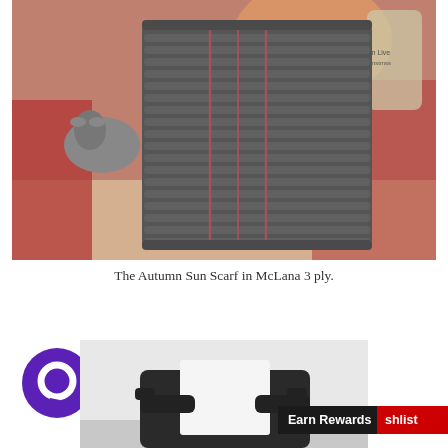[Figure (photo): A crocheted scarf in dark gray with thin red/pink accent stripes, photographed on a table with a decorative mouse figurine, glass, and red floral tablecloth in the background.]
The Autumn Sun Scarf in McLana 3 ply.
[Figure (photo): A person wearing black gloves holding a white square object, possibly a knitting or crafting swatch.]
[Figure (logo): Purple circular chat/comment icon logo.]
Earn Rewards
shlist